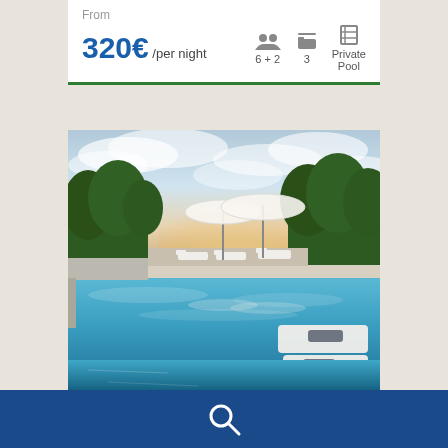From
320€ /per night
6 + 2
3
Private Pool
[Figure (photo): Luxury villa pool at sunset with white lounge chairs and large white umbrellas, surrounded by trees, with turquoise water reflecting the sky]